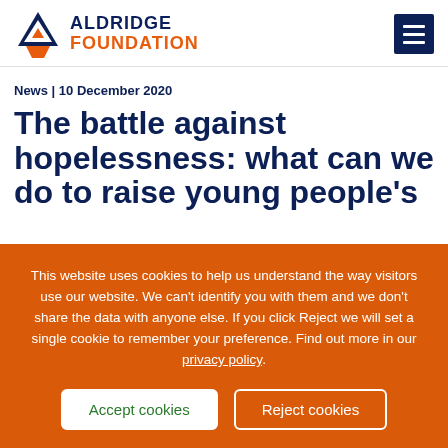ALDRIDGE FOUNDATION
News | 10 December 2020
The battle against hopelessness: what can we do to raise young people's
This website uses cookies to help us understand the way visitors use our website. We can't identify you with them and we don't share the data with anyone else. If you click Reject we will set a single cookie to remember your preference. Find out more in our privacy policy.